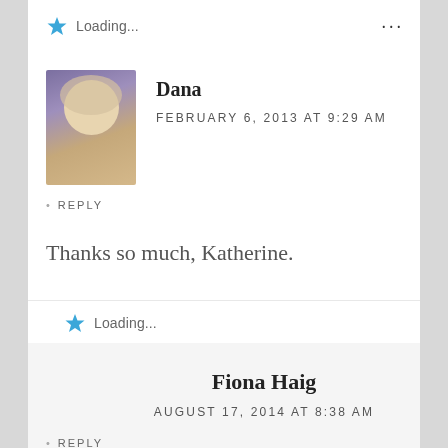Loading...
Dana
FEBRUARY 6, 2013 AT 9:29 AM
• REPLY
Thanks so much, Katherine.
Loading...
Fiona Haig
AUGUST 17, 2014 AT 8:38 AM
• REPLY